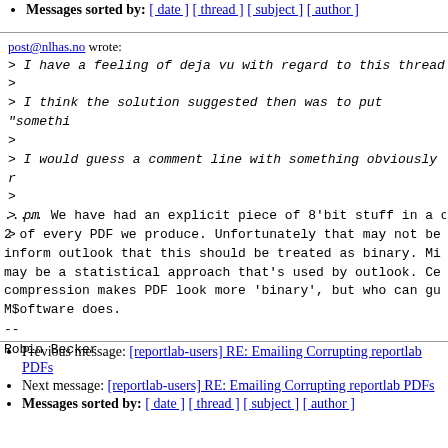Messages sorted by: [ date ] [ thread ] [ subject ] [ author ]
post@nlhas.no wrote:
> I have a feeling of deja vu with regard to this thread
>
> I think the solution suggested then was to put "someth
>
> I would guess a comment line with something obviously r
>
> pm
>
..... We have had an explicit piece of 8'bit stuff in a c
2 of every PDF we produce. Unfortunately that may not be
inform outlook that this should be treated as binary. Mi
may be a statistical approach that's used by outlook. Ce
compression makes PDF look more 'binary', but who can gu
M$oftware does.
--
Robin Becker
Previous message: [reportlab-users] RE: Emailing Corrupting reportlab PDFs
Next message: [reportlab-users] RE: Emailing Corrupting reportlab PDFs
Messages sorted by: [ date ] [ thread ] [ subject ] [ author ]